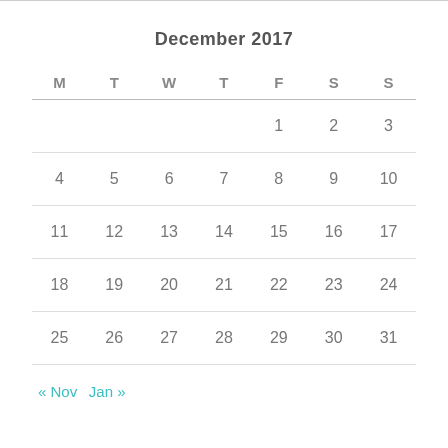December 2017
| M | T | W | T | F | S | S |
| --- | --- | --- | --- | --- | --- | --- |
|  |  |  |  | 1 | 2 | 3 |
| 4 | 5 | 6 | 7 | 8 | 9 | 10 |
| 11 | 12 | 13 | 14 | 15 | 16 | 17 |
| 18 | 19 | 20 | 21 | 22 | 23 | 24 |
| 25 | 26 | 27 | 28 | 29 | 30 | 31 |
« Nov   Jan »